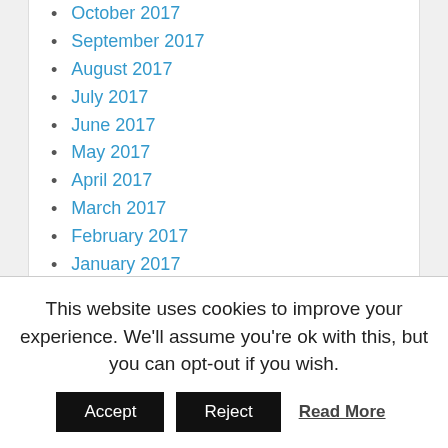October 2017
September 2017
August 2017
July 2017
June 2017
May 2017
April 2017
March 2017
February 2017
January 2017
December 2016
November 2016
October 2016
September 2016
August 2016
July 2016
This website uses cookies to improve your experience. We'll assume you're ok with this, but you can opt-out if you wish.